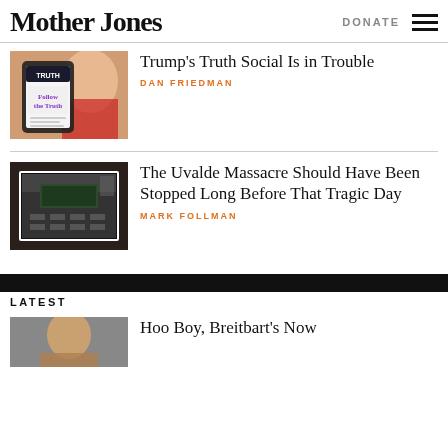Mother Jones
DONATE
Trump's Truth Social Is in Trouble
DAN FRIEDMAN
The Uvalde Massacre Should Have Been Stopped Long Before That Tragic Day
MARK FOLLMAN
LATEST
Hoo Boy, Breitbart's Now…